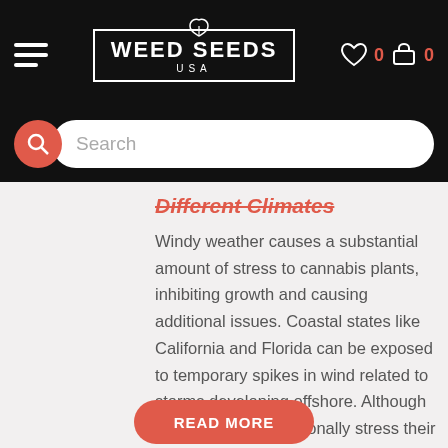WEED SEEDS USA — navigation header with hamburger menu, logo, wishlist (0), and cart (0)
[Figure (screenshot): Search bar with red circle search icon and white rounded input box with placeholder text 'Search']
Different Climates
Windy weather causes a substantial amount of stress to cannabis plants, inhibiting growth and causing additional issues. Coastal states like California and Florida can be exposed to temporary spikes in wind related to storms developing offshore. Although some growers intentionally stress their plants with wind to accelerate bud growth, it is easy to get too much of a good thing. Instead of using the wind to ensure healthy growth, focus on soil nutrition, location, and seed quality.
READ MORE